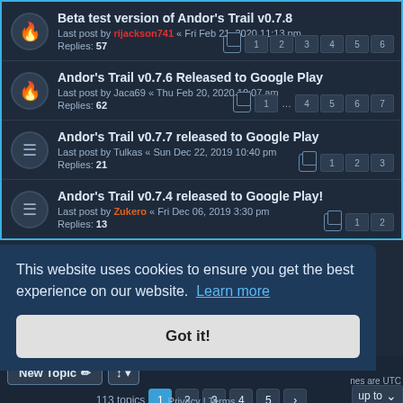Beta test version of Andor's Trail v0.7.8 — Last post by rijackson741 « Fri Feb 21, 2020 11:13 pm — Replies: 57 — pages: 1 2 3 4 5 6
Andor's Trail v0.7.6 Released to Google Play — Last post by Jaca69 « Thu Feb 20, 2020 10:07 am — Replies: 62 — pages: 1 ... 4 5 6 7
Andor's Trail v0.7.7 released to Google Play — Last post by Tulkas « Sun Dec 22, 2019 10:40 pm — Replies: 21 — pages: 1 2 3
Andor's Trail v0.7.4 released to Google Play! — Last post by Zukero « Fri Dec 06, 2019 3:30 pm — Replies: 13 — pages: 1 2
New Topic | Sort | 113 topics — 1 2 3 4 5 >
This website uses cookies to ensure you get the best experience on our website. Learn more
Got it!
nes are UTC
Privacy | Terms